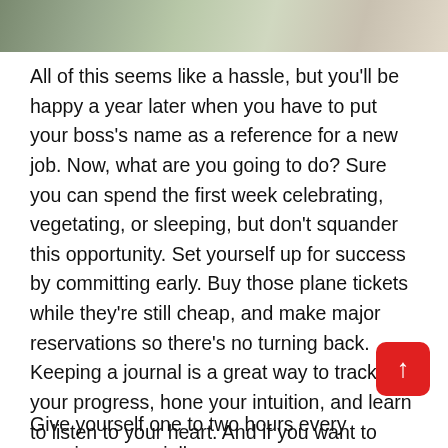[Figure (photo): Partial photo showing a person outdoors on a gravel/stone surface, cropped at top of page]
All of this seems like a hassle, but you'll be happy a year later when you have to put your boss's name as a reference for a new job. Now, what are you going to do? Sure you can spend the first week celebrating, vegetating, or sleeping, but don't squander this opportunity. Set yourself up for success by committing early. Buy those plane tickets while they're still cheap, and make major reservations so there's no turning back. Keeping a journal is a great way to track your progress, hone your intuition, and learn to listen to your heart. And if you want to become more creative, I highly recommend buying The Artist's Way. It's a 12-week course to unlock your creativity.
Give yourself one to two hours every morning, especially